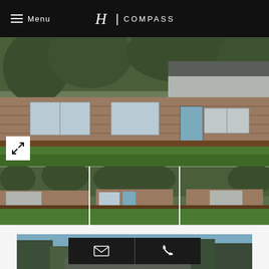Menu | JH | COMPASS
[Figure (photo): Exterior front view of a split-level brick and gray siding house with green lawn, trees in background, and expand icon button in lower left corner]
[Figure (photo): Thumbnail 1: Left angle view of the same split-level house with green lawn]
[Figure (photo): Thumbnail 2: Front view of the same split-level house with green lawn]
[Figure (photo): Thumbnail 3: Right angle view of the same split-level house with green lawn]
[Figure (photo): Partial view of a second property exterior showing trees and blue sky, with email and phone contact buttons overlaid at center]
Email and phone contact buttons